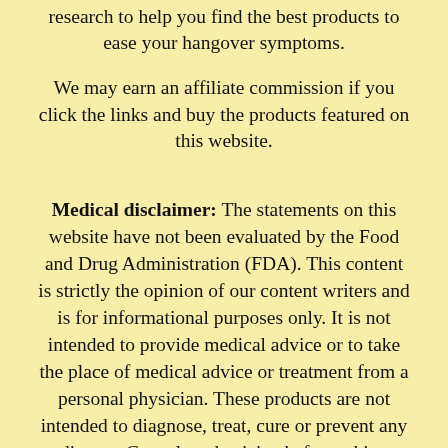research to help you find the best products to ease your hangover symptoms.
We may earn an affiliate commission if you click the links and buy the products featured on this website.
Medical disclaimer: The statements on this website have not been evaluated by the Food and Drug Administration (FDA). This content is strictly the opinion of our content writers and is for informational purposes only. It is not intended to provide medical advice or to take the place of medical advice or treatment from a personal physician. These products are not intended to diagnose, treat, cure or prevent any disease. Consult a physician before taking